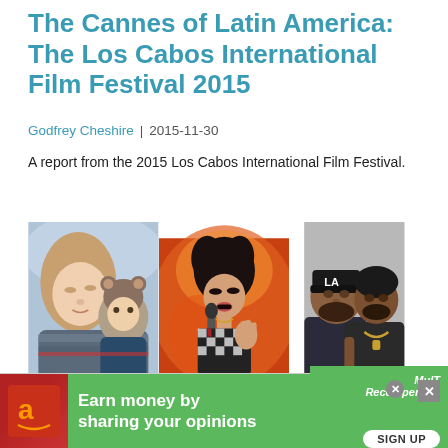The Cannes of Latin America: The Los Cabos International Film Festival 2015
Godfrey Cheshire | 2015-11-30
A report from the 2015 Los Cabos International Film Festival.
[Figure (photo): A collage of three film-related photos: left panel shows a woman and child in winter clothing; center panel shows a female singer performing with a microphone; right panel shows two men in casual streetwear.]
[Figure (infographic): Advertisement banner: green background with 'Earn money by sharing your opinions' text and a SIGN UP button. Amazon logo on left side on red background. MullT Recompensas branding on right.]